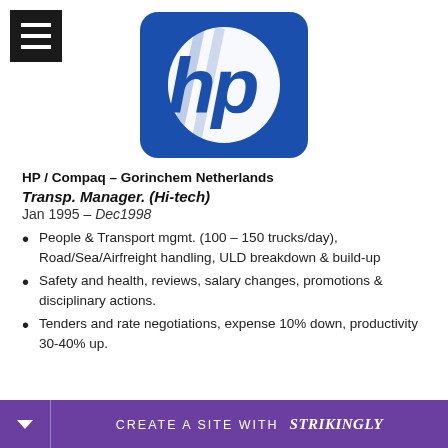[Figure (logo): HP / Hewlett-Packard blue rounded square logo with white 'hp' stylized text]
HP / Compaq – Gorinchem Netherlands
Transp. Manager. (Hi-tech)
Jan 1995 – Dec1998
People & Transport mgmt. (100 – 150 trucks/day), Road/Sea/Airfreight handling, ULD breakdown & build-up
Safety and health, reviews, salary changes, promotions & disciplinary actions.
Tenders and rate negotiations, expense 10% down, productivity 30-40% up.
CREATE A SITE WITH strikingly